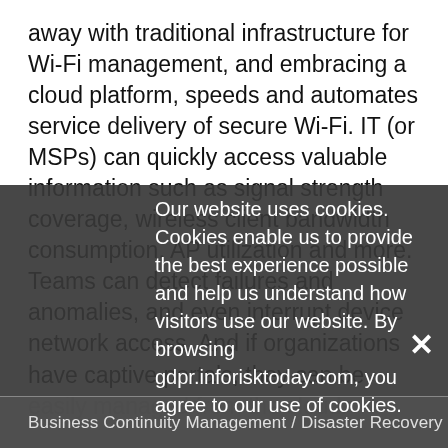away with traditional infrastructure for Wi-Fi management, and embracing a cloud platform, speeds and automates service delivery of secure Wi-Fi. IT (or MSPs) can quickly access valuable information such as signal strength coverage, wireless client bandwidth consumption, AP utilization and more. Teams can detect failures and anomalies, and even interrupt device network access. And if organizations have captive portals, they can be easily managed from the cloud.
WatchGuard's mission is to help organizations and MSPs modernize their wireless security deliver by offering scalable, cloud-managed platforms. To learn more about Wi-Fi in WatchGuard cloud, click here.
Our website uses cookies. Cookies enable us to provide the best experience possible and help us understand how visitors use our website. By browsing gdpr.inforisktoday.com, you agree to our use of cookies.
Business Continuity Management / Disaster Recovery